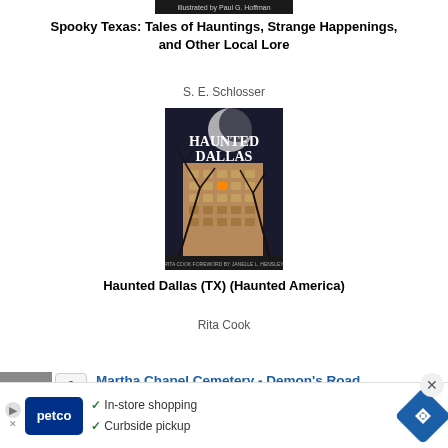[Figure (illustration): Book cover image for Spooky Texas - small banner at top]
Spooky Texas: Tales of Hauntings, Strange Happenings, and Other Local Lore
S. E. Schlosser
[Figure (photo): Book cover for Haunted Dallas showing a tall brick building with bare trees and text HAUNTED DALLAS]
Haunted Dallas (TX) (Haunted America)
Rita Cook
[Figure (illustration): Thumbnail image with cartoon bird/character on grey background. Badge showing '0'.]
Martha Chapel Cemetery - Demon's Road
[Figure (other): Advertisement banner: Petco - In-store shopping, Curbside pickup. With navigation icon and close button.]